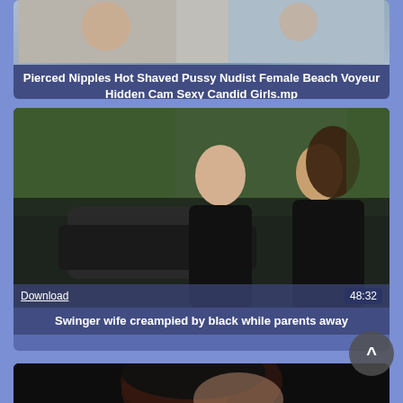[Figure (screenshot): Partial video thumbnail at top, partially cut off, showing partial image content]
Pierced Nipples Hot Shaved Pussy Nudist Female Beach Voyeur Hidden Cam Sexy Candid Girls.mp
[Figure (screenshot): Video thumbnail showing two people standing outdoors next to a car, with Download link and 48:32 duration overlay]
Swinger wife creampied by black while parents away
[Figure (screenshot): Partial video thumbnail at bottom showing close-up of a person]